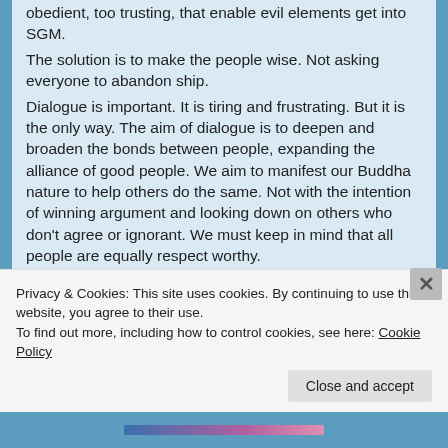obedient, too trusting, that enable evil elements get into SGM.
The solution is to make the people wise. Not asking everyone to abandon ship.
Dialogue is important. It is tiring and frustrating. But it is the only way. The aim of dialogue is to deepen and broaden the bonds between people, expanding the alliance of good people. We aim to manifest our Buddha nature to help others do the same. Not with the intention of winning argument and looking down on others who don't agree or ignorant. We must keep in mind that all people are equally respect worthy.
Don't give up so easily. Set a target, and go out to have more and more joyful dialogue. The
Privacy & Cookies: This site uses cookies. By continuing to use this website, you agree to their use.
To find out more, including how to control cookies, see here: Cookie Policy